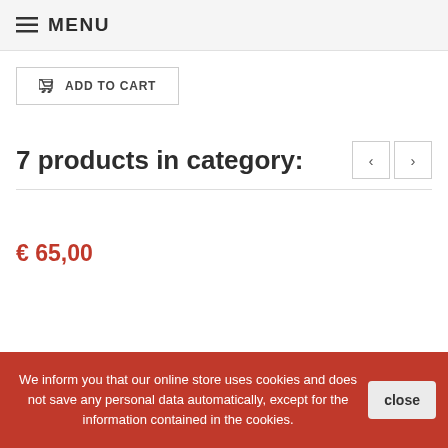≡ MENU
ADD TO CART
7 products in category:
€ 65,00
We inform you that our online store uses cookies and does not save any personal data automatically, except for the information contained in the cookies.